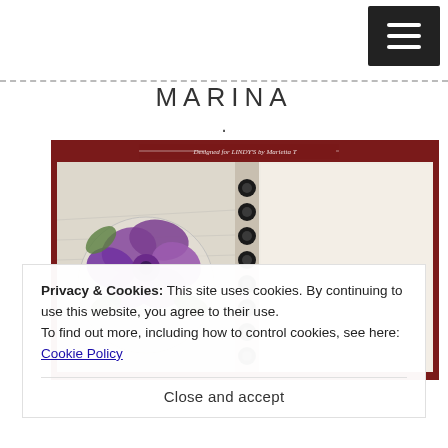☰ (hamburger menu button)
MARINA
·
[Figure (photo): Open scrapbook/art journal with purple flower artwork on the left page and a plain textured white page on the right, bound with a black spiral disc binding. Text at top reads 'Designed for LINDY'S by Marietta T'. Dark red/maroon background.]
Privacy & Cookies: This site uses cookies. By continuing to use this website, you agree to their use.
To find out more, including how to control cookies, see here: Cookie Policy
Close and accept